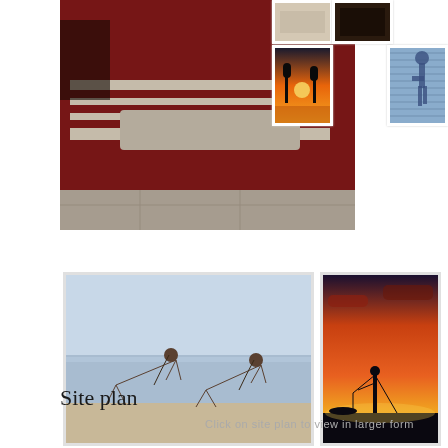[Figure (photo): Large photo of a red-covered bed with striped blanket in a bedroom, partial view]
[Figure (photo): Small thumbnail - light beige/cream color swatch or fabric]
[Figure (photo): Small thumbnail - dark wood or furniture detail]
[Figure (photo): Small thumbnail - sunset over water with bare trees silhouette]
[Figure (photo): Small thumbnail - blue shadow of person on corrugated surface]
[Figure (photo): Two women doing yoga poses on a beach]
[Figure (photo): Silhouette of person doing yoga triangle pose against vibrant orange and red sunset sky]
Site plan
Click on site plan to view in larger form